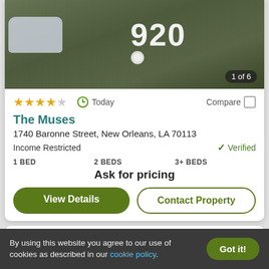[Figure (photo): Photo of a green streetcar/tram numbered 920, with a car visible on the left side. Shows '1 of 6' indicator overlay.]
★★★★☆  Today  Compare □
The Muses
1740 Baronne Street, New Orleans, LA 70113
Income Restricted  ✓ Verified
1 BED   2 BEDS   3+ BEDS
Ask for pricing
View Details   Contact Property
Top Rated for Location
By using this website you agree to our use of cookies as described in our cookie policy.